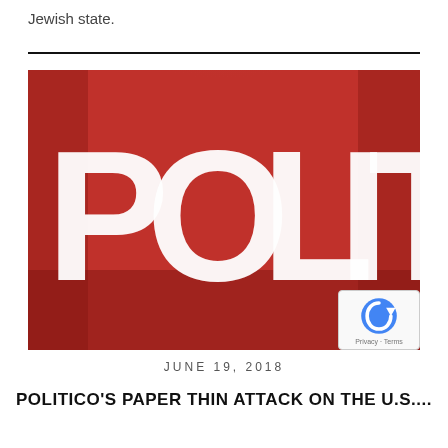Jewish state.
[Figure (photo): Photo of a red wall with large white letters spelling 'POLITICO' (partially visible, showing 'POLITIC'), with overhead spotlights illuminating the sign.]
JUNE 19, 2018
POLITICO'S PAPER THIN ATTACK ON THE U.S....